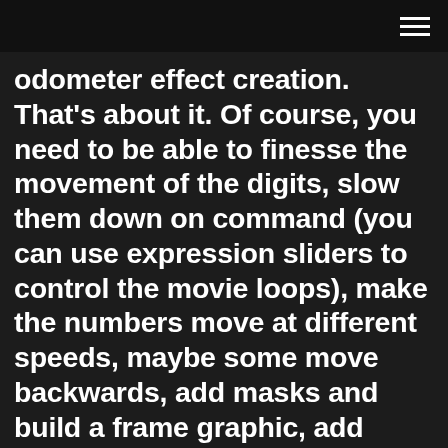odometer effect creation. That's about it. Of course, you need to be able to finesse the movement of the digits, slow them down on command (you can use expression sliders to control the movie loops), make the numbers move at different speeds, maybe some move backwards, add masks and build a frame graphic, add shadows or reflections--the list of ...